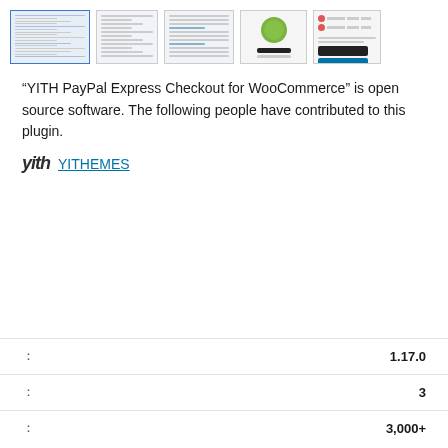[Figure (screenshot): Row of 5 plugin screenshot thumbnails showing settings pages and UI]
“YITH PayPal Express Checkout for WooCommerce” is open source software. The following people have contributed to this plugin.
YITHEMES
| ： | 1.17.0 |
| ： | 3 |
| ： | 3,000+ |